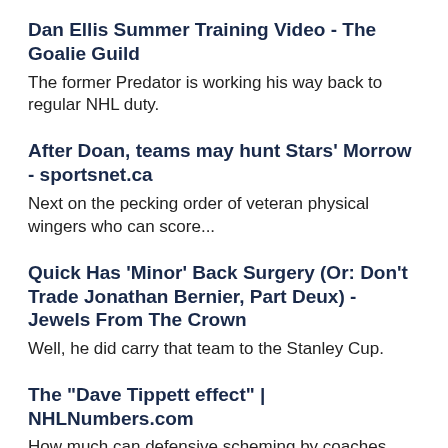Dan Ellis Summer Training Video - The Goalie Guild
The former Predator is working his way back to regular NHL duty.
After Doan, teams may hunt Stars' Morrow - sportsnet.ca
Next on the pecking order of veteran physical wingers who can score...
Quick Has 'Minor' Back Surgery (Or: Don't Trade Jonathan Bernier, Part Deux) - Jewels From The Crown
Well, he did carry that team to the Stanley Cup.
The "Dave Tippett effect" | NHLNumbers.com
How much can defensive scheming by coaches affect